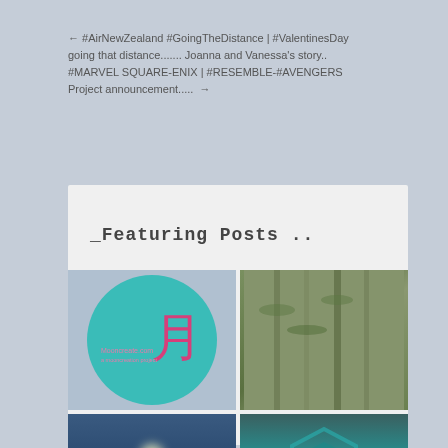← #AirNewZealand #GoingTheDistance | #ValentinesDay going that distance....... Joanna and Vanessa's story.. #MARVEL SQUARE-ENIX | #RESEMBLE-#AVENGERS Project announcement.....  →
_Featuring Posts ..
[Figure (logo): Teal circle logo with Japanese kanji character (月) in pink/magenta and small text reading website URL]
[Figure (photo): Photo of tall green plants or bamboo stalks in glass containers against a wall]
[Figure (photo): Photo with spotlight or beam of light against dark blue sky]
[Figure (photo): Photo of turquoise/teal colored object, possibly a fountain or decorative item, with hexagonal shape]